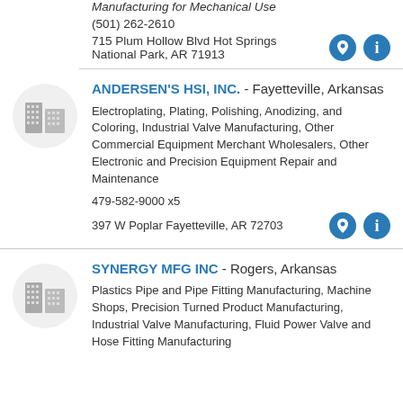Manufacturing for Mechanical Use
(501) 262-2610
715 Plum Hollow Blvd Hot Springs National Park, AR 71913
ANDERSEN'S HSI, INC. - Fayetteville, Arkansas
Electroplating, Plating, Polishing, Anodizing, and Coloring, Industrial Valve Manufacturing, Other Commercial Equipment Merchant Wholesalers, Other Electronic and Precision Equipment Repair and Maintenance
479-582-9000 x5
397 W Poplar Fayetteville, AR 72703
SYNERGY MFG INC - Rogers, Arkansas
Plastics Pipe and Pipe Fitting Manufacturing, Machine Shops, Precision Turned Product Manufacturing, Industrial Valve Manufacturing, Fluid Power Valve and Hose Fitting Manufacturing